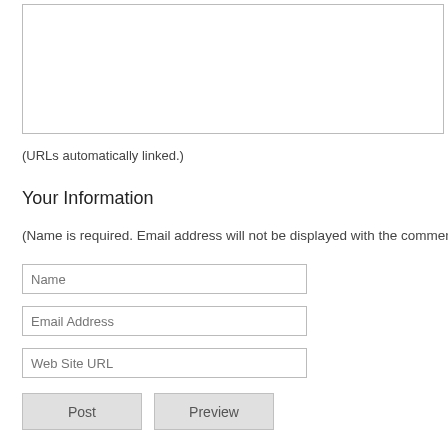[Figure (other): Empty textarea input box at top of page]
(URLs automatically linked.)
Your Information
(Name is required. Email address will not be displayed with the comment.)
[Figure (other): Name text input field]
[Figure (other): Email Address text input field]
[Figure (other): Web Site URL text input field]
[Figure (other): Post and Preview buttons]